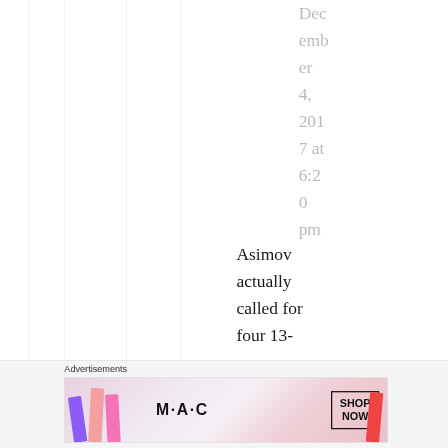December 4, 2017 at 6:20 pm
Asimov actually called for four 13-
[Figure (other): Advertisement banner showing MAC cosmetics lipsticks with 'SHOP NOW' button]
Advertisements